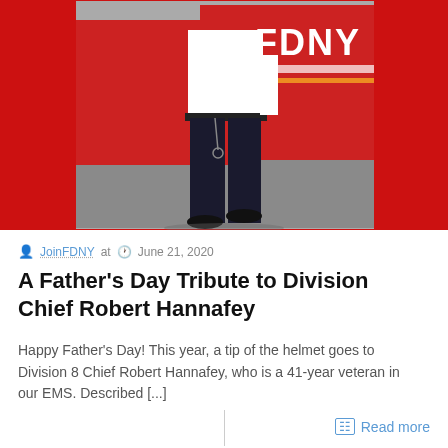[Figure (photo): FDNY officer in white shirt and dark pants standing in front of a red FDNY fire truck, partial body visible from neck down. Red background border around photo.]
JoinFDNY at  June 21, 2020
A Father's Day Tribute to Division Chief Robert Hannafey
Happy Father's Day! This year, a tip of the helmet goes to Division 8 Chief Robert Hannafey, who is a 41-year veteran in our EMS. Described [...]
Read more